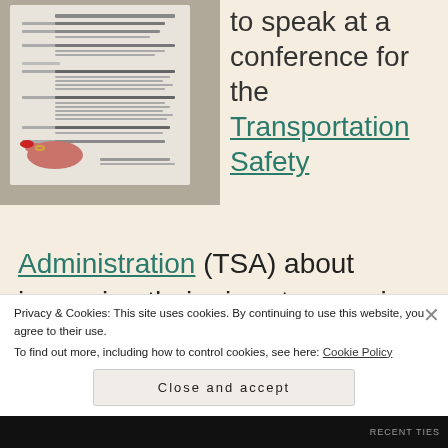[Figure (photo): A photograph of a printed conference schedule/agenda document with a hand (red nails, gold ring) pointing at it. The document appears to be from the Office of Civil Rights and is titled with panel sessions and times.]
to speak at a conference for the Transportation Safety Administration (TSA) about improving their airport screening processes for people with
Privacy & Cookies: This site uses cookies. By continuing to use this website, you agree to their use.
To find out more, including how to control cookies, see here: Cookie Policy
Close and accept